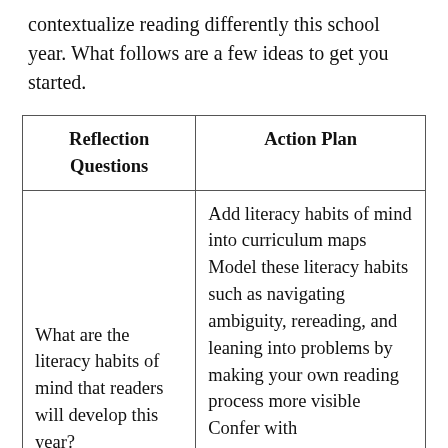contextualize reading differently this school year. What follows are a few ideas to get you started.
| Reflection Questions | Action Plan |
| --- | --- |
| What are the literacy habits of mind that readers will develop this year? | Add literacy habits of mind into curriculum maps Model these literacy habits such as navigating ambiguity, rereading, and leaning into problems by making your own reading process more visible Confer with... |